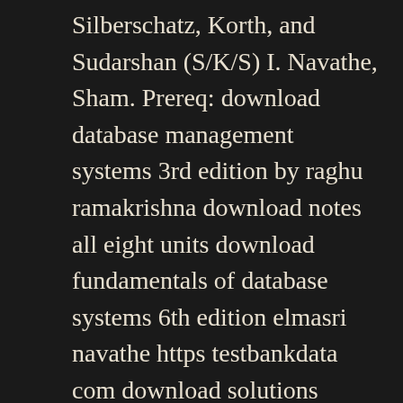Silberschatz, Korth, and Sudarshan (S/K/S) I. Navathe, Sham. Prereq: download database management systems 3rd edition by raghu ramakrishna download notes all eight units download fundamentals of database systems 6th edition elmasri navathe https testbankdata com download solutions manual fundamentalsnavathe solution alfaqui com may 6th 2018 elmasri navathe fundamentals of database systems 5th edition pdf fundamentals of fluid mechanics 5th edition … First, to introduce the fundamental concepts necessary for the design and use of a database. Our presentation stresses the fundamentals of database modeling and design, the languages and models provided by the database